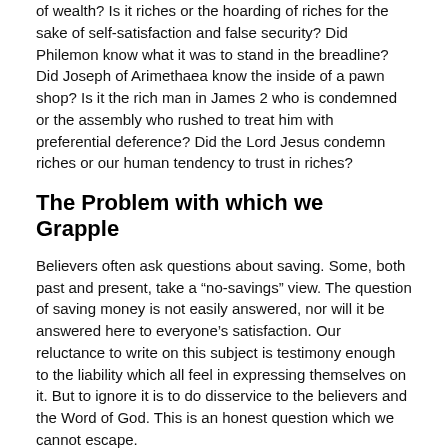of wealth? Is it riches or the hoarding of riches for the sake of self-satisfaction and false security? Did Philemon know what it was to stand in the breadline? Did Joseph of Arimethaea know the inside of a pawn shop? Is it the rich man in James 2 who is condemned or the assembly who rushed to treat him with preferential deference? Did the Lord Jesus condemn riches or our human tendency to trust in riches?
The Problem with which we Grapple
Believers often ask questions about saving. Some, both past and present, take a “no-savings” view. The question of saving money is not easily answered, nor will it be answered here to everyone’s satisfaction. Our reluctance to write on this subject is testimony enough to the liability which all feel in expressing themselves on it. But to ignore it is to do disservice to the believers and the Word of God. This is an honest question which we cannot escape.
Young couples are faced with the staggering cost of home ownership. Parents, with an exercise for the future of their children, contemplate huge tuition payments. Is it correct to save for any of these? Should all monies be turned to